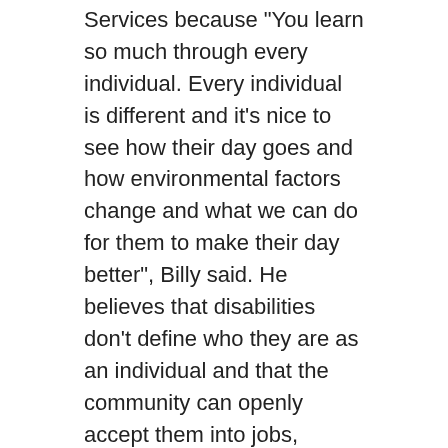Services because "You learn so much through every individual. Every individual is different and it's nice to see how their day goes and how environmental factors change and what we can do for them to make their day better", Billy said. He believes that disabilities don't define who they are as an individual and that the community can openly accept them into jobs, programs, and volunteer work because they are capable of doing the work.
What do you wish you knew more about?
The billing and insurance aspect of Integrated Day Services. I have been involved in the activities and working hands-on with the individuals and I